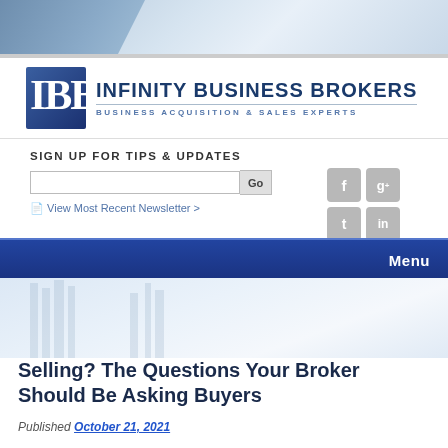[Figure (illustration): Blue architectural/building banner header image with gradient blue tones]
[Figure (logo): IBB Infinity Business Brokers logo with large blue IBB letters and company name 'INFINITY BUSINESS BROKERS - BUSINESS ACQUISITION & SALES EXPERTS']
SIGN UP FOR TIPS & UPDATES
[Figure (illustration): Email signup input box with Go button and social media icons: Facebook, Google+, Twitter, LinkedIn]
View Most Recent Newsletter >
Menu
Selling? The Questions Your Broker Should Be Asking Buyers
Published October 21, 2021